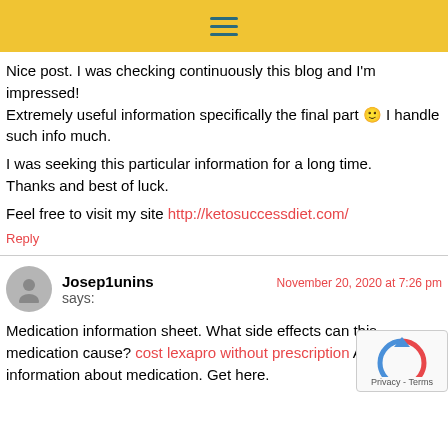Navigation menu icon (hamburger)
Nice post. I was checking continuously this blog and I'm impressed!
Extremely useful information specifically the final part 🙂 I handle such info much.

I was seeking this particular information for a long time. Thanks and best of luck.

Feel free to visit my site http://ketosuccessdiet.com/
Reply
Josep1unins says: — November 20, 2020 at 7:26 pm
Medication information sheet. What side effects can this medication cause? cost lexapro without prescription All information about medication. Get here.